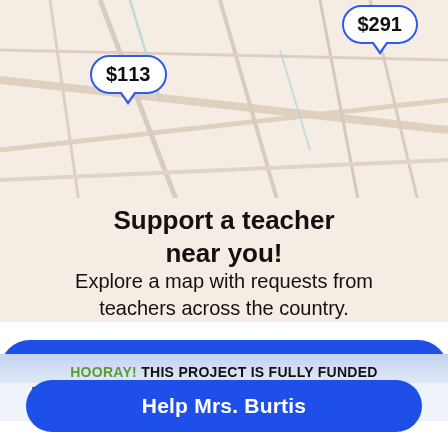[Figure (map): Map background showing street/road lines in beige/light color with two speech bubble price markers: '$113' on the left and '$291' on the upper right, both with blue borders.]
Support a teacher near you!
Explore a map with requests from teachers across the country.
View map of requests
HOORAY! THIS PROJECT IS FULLY FUNDED
Keep the momentum going! Make a donation to Mrs. Burtis for her next project!
Help Mrs. Burtis